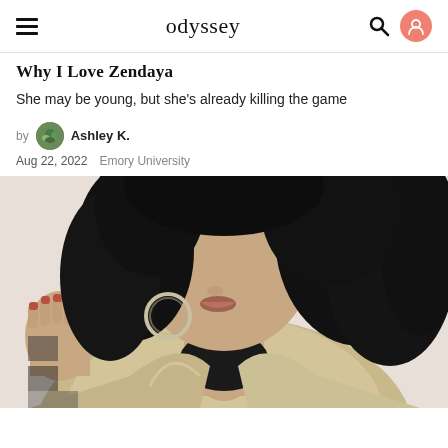odyssey
Why I Love Zendaya
She may be young, but she's already killing the game
by Ashley K.
Aug 22, 2022  Emory University
[Figure (photo): Close-up photo of a young woman with long curly black hair, wearing a metallic/gold jacket and large hoop earrings, photographed against a white background]